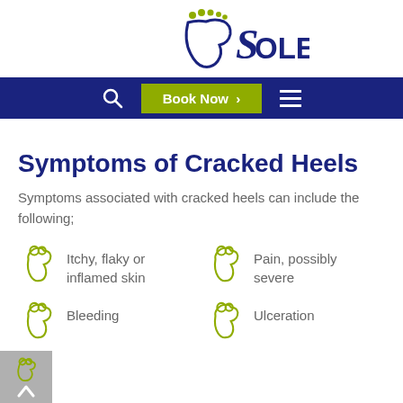[Figure (logo): Sole Podiatry logo with foot icon and stylized text in dark blue and olive green]
Search | Book Now > | Menu
Symptoms of Cracked Heels
Symptoms associated with cracked heels can include the following;
Itchy, flaky or inflamed skin
Pain, possibly severe
Bleeding
Ulceration